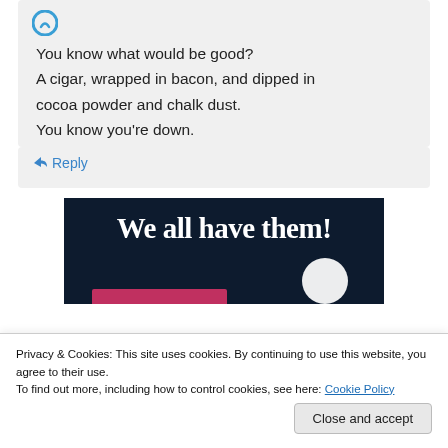You know what would be good?
A cigar, wrapped in bacon, and dipped in cocoa powder and chalk dust.
You know you’re down.
Reply
[Figure (illustration): Dark navy banner image with bold white serif text reading 'We all have them!' with a pink/magenta bar and white circle at the bottom]
Privacy & Cookies: This site uses cookies. By continuing to use this website, you agree to their use.
To find out more, including how to control cookies, see here: Cookie Policy
Close and accept